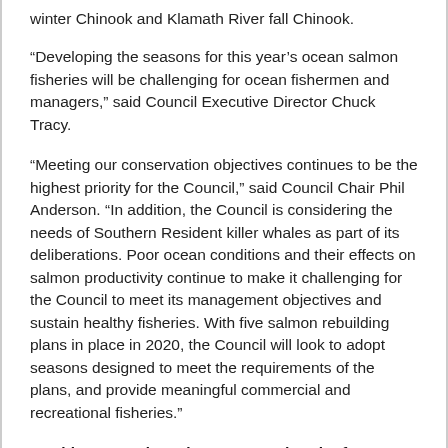winter Chinook and Klamath River fall Chinook.
“Developing the seasons for this year’s ocean salmon fisheries will be challenging for ocean fishermen and managers,” said Council Executive Director Chuck Tracy.
“Meeting our conservation objectives continues to be the highest priority for the Council,” said Council Chair Phil Anderson. “In addition, the Council is considering the needs of Southern Resident killer whales as part of its deliberations. Poor ocean conditions and their effects on salmon productivity continue to make it challenging for the Council to meet its management objectives and sustain healthy fisheries. With five salmon rebuilding plans in place in 2020, the Council will look to adopt seasons designed to meet the requirements of the plans, and provide meaningful commercial and recreational fisheries.”
Washington and Northern Oregon (north of Cape Falcon)